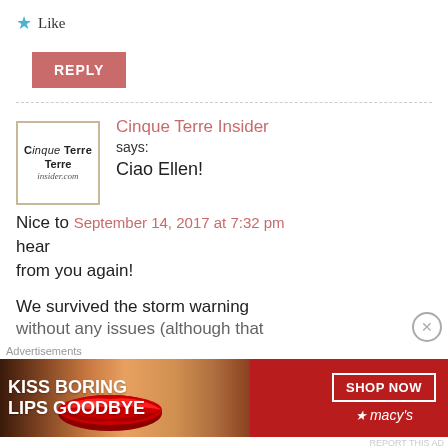★ Like
REPLY
Cinque Terre Insider says: Ciao Ellen! September 14, 2017 at 7:32 pm Nice to hear from you again! We survived the storm warning without any issues (although that
[Figure (logo): Cinque Terre Insider logo in a bordered box]
Advertisements
[Figure (other): Macy's advertisement banner: KISS BORING LIPS GOODBYE with SHOP NOW button and Macy's star logo]